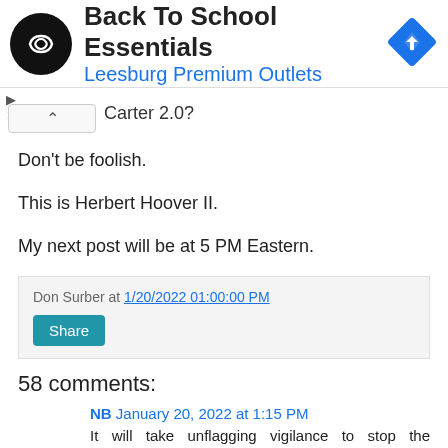[Figure (infographic): Advertisement banner for Back To School Essentials at Leesburg Premium Outlets, with a circular black logo with infinity-like symbol on left, text in center, and blue diamond directional sign icon on right.]
Carter 2.0?
Don't be foolish.
This is Herbert Hoover II.
My next post will be at 5 PM Eastern.
Don Surber at 1/20/2022 01:00:00 PM
Share
58 comments:
NB January 20, 2022 at 1:15 PM
It will take unflagging vigilance to stop the Democrat cheaters and crooks.